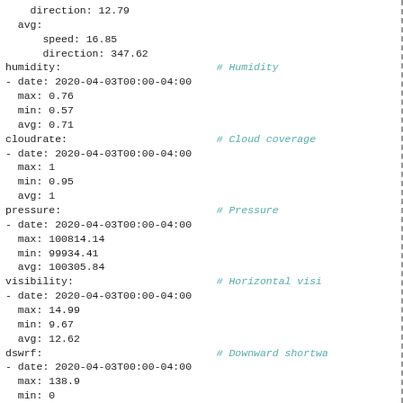direction: 12.79
  avg:
      speed: 16.85
      direction: 347.62
humidity:                              # Humidity
- date: 2020-04-03T00:00-04:00
  max: 0.76
  min: 0.57
  avg: 0.71
cloudrate:                             # Cloud coverage
- date: 2020-04-03T00:00-04:00
  max: 1
  min: 0.95
  avg: 1
pressure:                              # Pressure
- date: 2020-04-03T00:00-04:00
  max: 100814.14
  min: 99934.41
  avg: 100305.84
visibility:                            # Horizontal visi
- date: 2020-04-03T00:00-04:00
  max: 14.99
  min: 9.67
  avg: 12.62
dswrf:                                 # Downward shortwa
- date: 2020-04-03T00:00-04:00
  max: 138.9
  min: 0
  avg: 41.4
air_quality:                           # Air quality
  aqi:
  - date: 2020-04-03T00:00-04:00
    max:
        chn: 0
        usa: 0
    avg:
        chn: 0